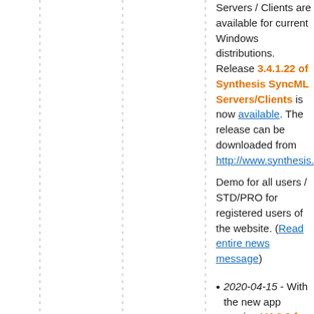Servers / Clients are available for current Windows distributions. Release 3.4.1.22 of Synthesis SyncML Servers/Clients is now available. The release can be downloaded from http://www.synthesis.ch/dl_subs.ph
Demo for all users / STD/PRO for registered users of the website. (Read entire news message)
2020-04-15 - With the new app version V4.6.2 for Android several enhancements and improvements have been added, especially for Android 10 support. (Read entire news message)
2019-10-22 - With the new app version V4.5.20 / V4.5.22 for Android several enhancements and improvements have been added, especially for Android 10 support. (Read entire news message)
2019-08-07 - With the new app